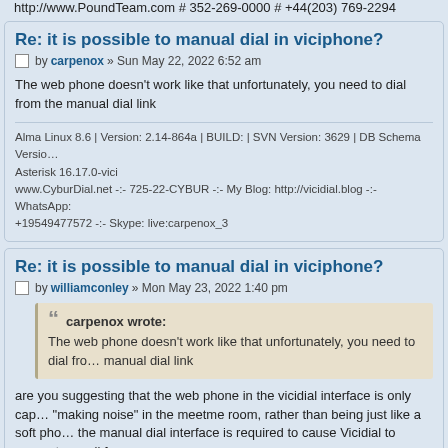http://www.PoundTeam.com # 352-269-0000 # +44(203) 769-2294
Re: it is possible to manual dial in viciphone?
by carpenox » Sun May 22, 2022 6:52 am
The web phone doesn't work like that unfortunately, you need to dial from the manual dial link
Alma Linux 8.6 | Version: 2.14-864a | BUILD: | SVN Version: 3629 | DB Schema Version: | Asterisk 16.17.0-vici
www.CyburDial.net -:- 725-22-CYBUR -:- My Blog: http://vicidial.blog -:- WhatsApp: +19549477572 -:- Skype: live:carpenox_3
Re: it is possible to manual dial in viciphone?
by williamconley » Mon May 23, 2022 1:40 pm
carpenox wrote:
The web phone doesn't work like that unfortunately, you need to dial from the manual dial link
are you suggesting that the web phone in the vicidial interface is only capable of "making noise" in the meetme room, rather than being just like a soft phone, and the manual dial interface is required to cause Vicidial to generate a call from